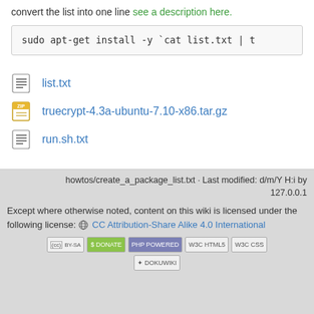convert the list into one line see a description here.
sudo apt-get install -y `cat list.txt | t
list.txt
truecrypt-4.3a-ubuntu-7.10-x86.tar.gz
run.sh.txt
howtos/create_a_package_list.txt · Last modified: d/m/Y H:i by 127.0.0.1
Except where otherwise noted, content on this wiki is licensed under the following license: CC Attribution-Share Alike 4.0 International